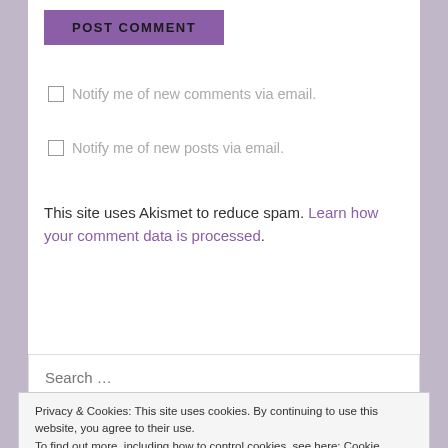POST COMMENT
Notify me of new comments via email.
Notify me of new posts via email.
This site uses Akismet to reduce spam. Learn how your comment data is processed.
Search …
Privacy & Cookies: This site uses cookies. By continuing to use this website, you agree to their use.
To find out more, including how to control cookies, see here: Cookie Policy
Close and accept
receive notifications of new posts by email.